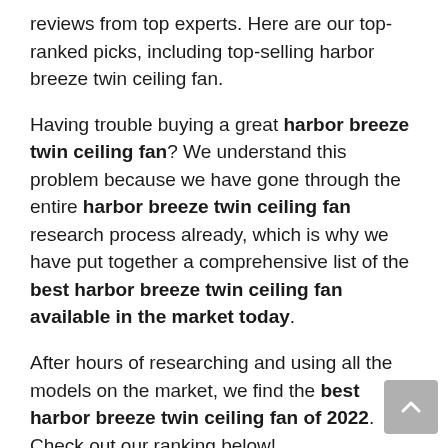reviews from top experts. Here are our top-ranked picks, including top-selling harbor breeze twin ceiling fan.
Having trouble buying a great harbor breeze twin ceiling fan? We understand this problem because we have gone through the entire harbor breeze twin ceiling fan research process already, which is why we have put together a comprehensive list of the best harbor breeze twin ceiling fan available in the market today.
After hours of researching and using all the models on the market, we find the best harbor breeze twin ceiling fan of 2022. Check out our ranking below!